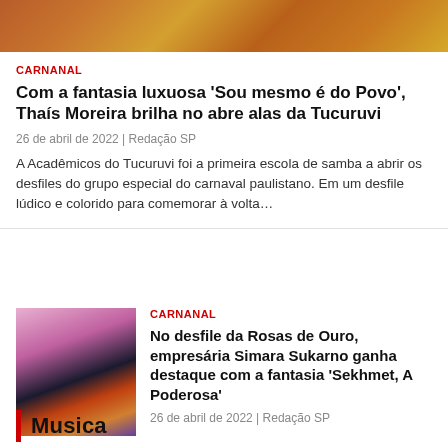[Figure (photo): Colorful carnival costume image with gold and red tones, partially visible at top of page]
CARNANAL
Com a fantasia luxuosa 'Sou mesmo é do Povo', Thaís Moreira brilha no abre alas da Tucuruvi
26 de abril de 2022 | Redação SP
A Acadêmicos do Tucuruvi foi a primeira escola de samba a abrir os desfiles do grupo especial do carnaval paulistano. Em um desfile lúdico e colorido para comemorar à volta…
[Figure (photo): Carnival costume figure in dark Egyptian-style costume, Sekhmet warrior look, with colorful decorations]
CARNANAL
No desfile da Rosas de Ouro, empresária Simara Sukarno ganha destaque com a fantasia 'Sekhmet, A Poderosa'
26 de abril de 2022 | Redação SP
Musica